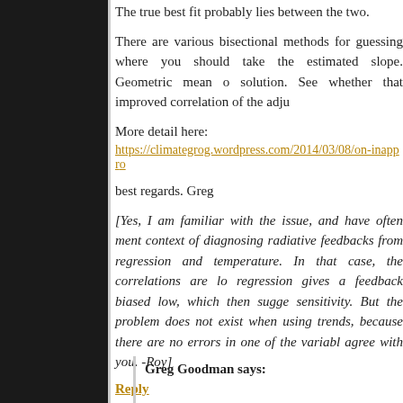The true best fit probably lies between the two.
There are various bisectional methods for guessing where you should take the estimated slope. Geometric mean of solution. See whether that improved correlation of the adju
More detail here:
https://climategrog.wordpress.com/2014/03/08/on-inappro
best regards. Greg
[Yes, I am familiar with the issue, and have often ment context of diagnosing radiative feedbacks from regression and temperature. In that case, the correlations are lo regression gives a feedback biased low, which then sugge sensitivity. But the problem does not exist when using trends, because there are no errors in one of the variabl agree with you. -Roy]
Reply
Greg Goodman says: